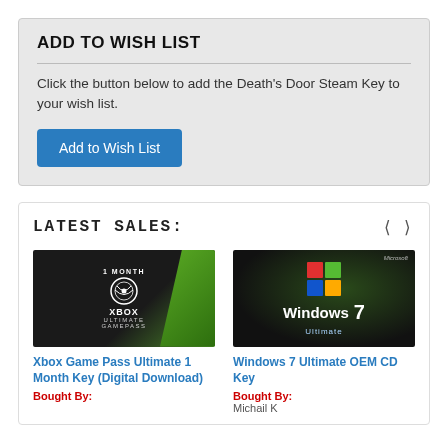ADD TO WISH LIST
Click the button below to add the Death's Door Steam Key to your wish list.
LATEST SALES:
[Figure (illustration): Xbox Game Pass Ultimate 1 Month Key product image — dark background with green diagonal stripe, Xbox logo, '1 MONTH', 'XBOX', 'ULTIMATE GAMEPASS' text]
Xbox Game Pass Ultimate 1 Month Key (Digital Download)
Bought By:
[Figure (illustration): Windows 7 Ultimate OEM CD Key product image — dark background with Windows logo (red/green/blue/orange quadrants), 'Windows 7 Ultimate' text, Microsoft label]
Windows 7 Ultimate OEM CD Key
Bought By:
Michail K